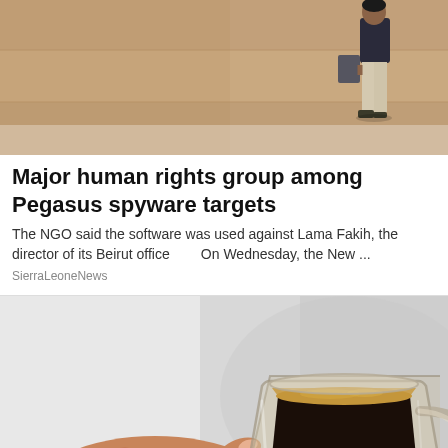[Figure (photo): Person walking along a sandy/clay colored wall, viewed from behind, wearing a dark top and light pants, carrying a bag]
Major human rights group among Pegasus spyware targets
The NGO said the software was used against Lama Fakih, the director of its Beirut office        On Wednesday, the New ...
SierraLeoneNews
[Figure (photo): A hand holding a small clear glass espresso cup filled with dark coffee, against a light grey/white blurred background]